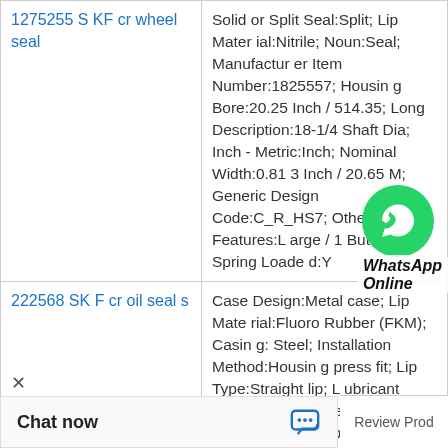| Product | Specifications |
| --- | --- |
| 1275255 SKF cr wheel seal | Solid or Split Seal:Split; Lip Material:Nitrile; Noun:Seal; Manufacturer Item Number:1825557; Housing Bore:20.25 Inch / 514.35; Long Description:18-1/4 Shaft Dia; Inch - Metric:Inch; Nominal Width:0.813 Inch / 20.65 M; Generic Design Code:C_R_HS7; Other Features:Large / 1 Butt Joint; Spring Loaded:Y |
| 222568 SKF cr oil seals | Case Design:Metal case; Lip Material:Fluoro Rubber (FKM); Casing:Steel; Installation Method:Housing press fit; Lip Type:Straight lip; Lubricant Type:Oil or Grease; Design Type:CRS1; Compatible Wear Sleeves:99225;99227;99837;99; Compatible V-Rings:22311;400550;400551;; Construction Descript |
[Figure (other): WhatsApp Online button overlay with green WhatsApp logo and italic text 'WhatsApp Online']
Chat now